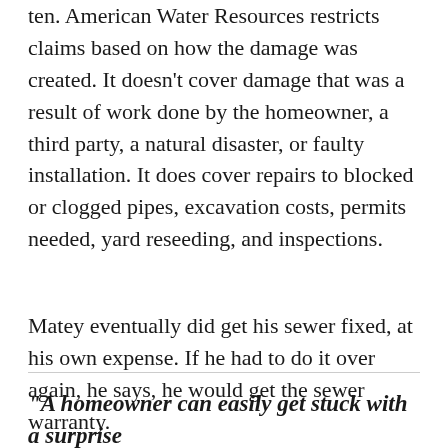ten. American Water Resources restricts claims based on how the damage was created. It doesn't cover damage that was a result of work done by the homeowner, a third party, a natural disaster, or faulty installation. It does cover repairs to blocked or clogged pipes, excavation costs, permits needed, yard reseeding, and inspections.
Matey eventually did get his sewer fixed, at his own expense. If he had to do it over again, he says, he would get the sewer warranty.
“A homeowner can easily get stuck with a surprise